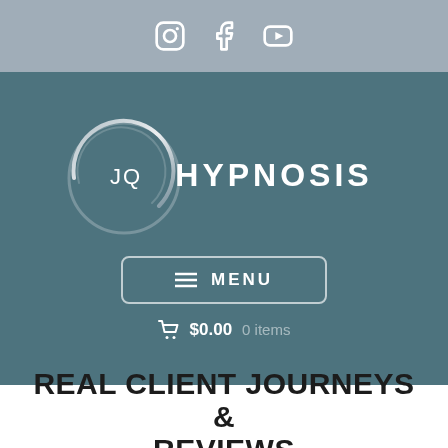[Social icons: Instagram, Facebook, YouTube]
[Figure (logo): JQ Hypnosis logo: a silver arc/circle on the left with text 'JQ HYPNOSIS' in white letters to the right, on a teal-grey background. Below the logo is a MENU button and a cart showing $0.00 0 items.]
REAL CLIENT JOURNEYS & REVIEWS